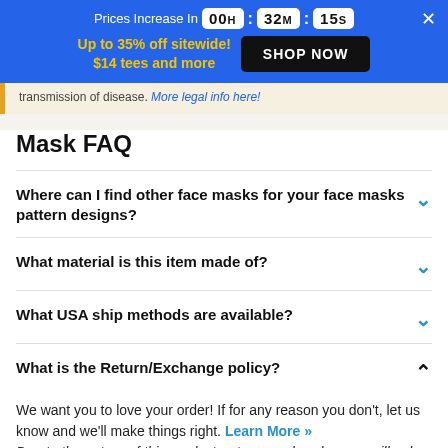Prices Increase In 00H : 32M : 15S
Up to 35% off sitewide! $14 tees and more — SHOP NOW
transmission of disease. More legal info here!
Mask FAQ
Where can I find other face masks for your face masks pattern designs?
What material is this item made of?
What USA ship methods are available?
What is the Return/Exchange policy?
We want you to love your order! If for any reason you don't, let us know and we'll make things right. Learn More »
Due to the nature of this product, returns and exchanges will only